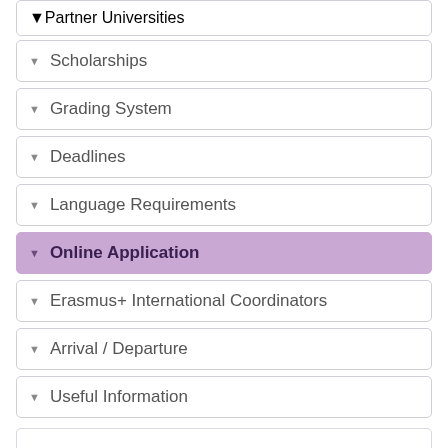Partner Universities
Scholarships
Grading System
Deadlines
Language Requirements
Online Application
Erasmus+ International Coordinators
Arrival / Departure
Useful Information
Useful Documents
Europass CV